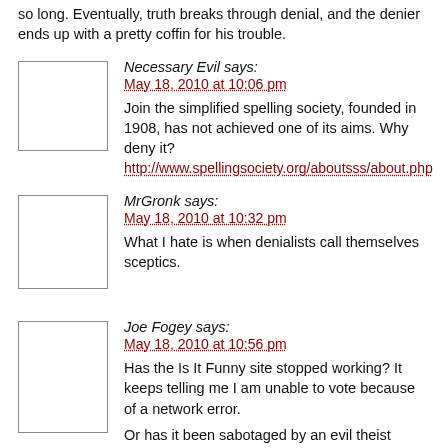so long. Eventually, truth breaks through denial, and the denier ends up with a pretty coffin for his trouble.
Necessary Evil says:
May 18, 2010 at 10:06 pm
Join the simplified spelling society, founded in 1908, has not achieved one of its aims. Why deny it?
http://www.spellingsociety.org/aboutsss/about.php
MrGronk says:
May 18, 2010 at 10:32 pm
What I hate is when denialists call themselves sceptics.
Joe Fogey says:
May 18, 2010 at 10:56 pm
Has the Is It Funny site stopped working? It keeps telling me I am unable to vote because of a network error.
Or has it been sabotaged by an evil theist conspiracy?
Maggs says:
May 19, 2010 at 2:25 am
Mmmm, Pappy McFae aren't we denialists from a theist point of view?